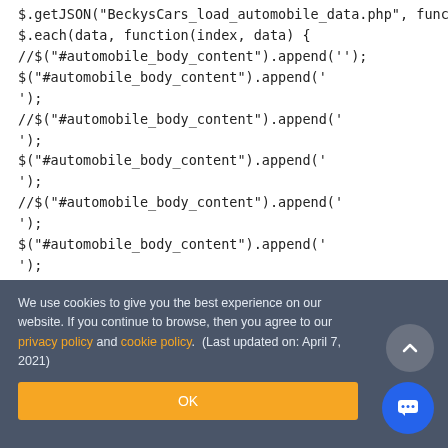$.getJSON("BeckysCars_load_automobile_data.php", function(data) {
$.each(data, function(index, data) {
//$("#automobile_body_content").append('');
$("#automobile_body_content").append('
');
//$("#automobile_body_content").append('
');
$("#automobile_body_content").append('
');
//$("#automobile_body_content").append('
');
$("#automobile_body_content").append('
');
$("#automobile_body_content").append('
We use cookies to give you the best experience on our website. If you continue to browse, then you agree to our privacy policy and cookie policy.  (Last updated on: April 7, 2021)
OK